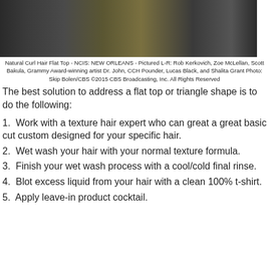[Figure (photo): Dark photograph showing cast members of NCIS: New Orleans seated together]
Natural Curl Hair Flat Top - NCIS: NEW ORLEANS - Pictured L-R: Rob Kerkovich, Zoe McLellan, Scott Bakula, Grammy Award-winning artist Dr. John, CCH Pounder, Lucas Black, and Shalita Grant Photo: Skip Bolen/CBS ©2015 CBS Broadcasting, Inc. All Rights Reserved
The best solution to address a flat top or triangle shape is to do the following:
1.  Work with a texture hair expert who can great a great basic cut custom designed for your specific hair.
2.  Wet wash your hair with your normal texture formula.
3.  Finish your wet wash process with a cool/cold final rinse.
4.  Blot excess liquid from your hair with a clean 100% t-shirt.
5.  Apply leave-in product cocktail.